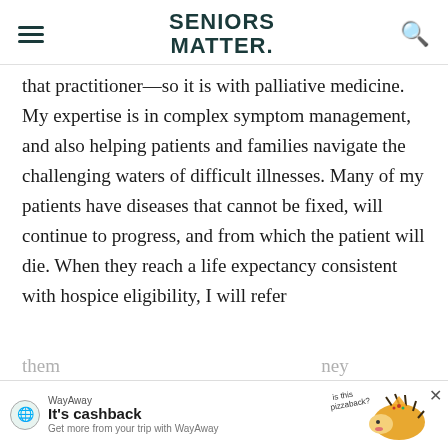SENIORS MATTER.
that practitioner—so it is with palliative medicine. My expertise is in complex symptom management, and also helping patients and families navigate the challenging waters of difficult illnesses. Many of my patients have diseases that cannot be fixed, will continue to progress, and from which the patient will die. When they reach a life expectancy consistent with hospice eligibility, I will refer them ... ney
[Figure (screenshot): WayAway advertisement banner — 'It's cashback. Get more from your trip with WayAway' with pizza hedgehog illustration and close button]